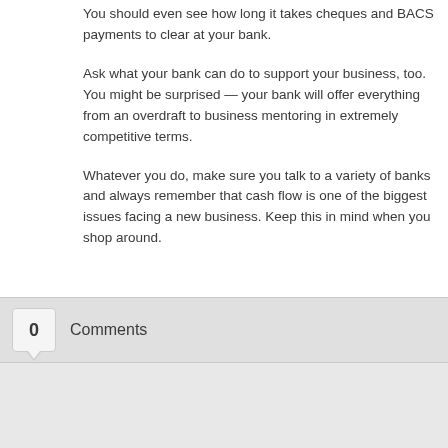You should even see how long it takes cheques and BACS payments to clear at your bank.
Ask what your bank can do to support your business, too. You might be surprised — your bank will offer everything from an overdraft to business mentoring in extremely competitive terms.
Whatever you do, make sure you talk to a variety of banks and always remember that cash flow is one of the biggest issues facing a new business. Keep this in mind when you shop around.
0  Comments